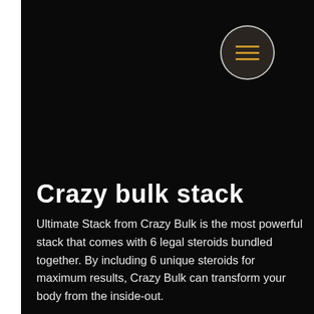[Figure (other): Circular hamburger menu button with golden horizontal lines on dark brown background, white circle border]
Crazy bulk stack
Ultimate Stack from Crazy Bulk is the most powerful stack that comes with 6 legal steroids bundled together. By including 6 unique steroids for maximum results, Crazy Bulk can transform your body from the inside-out.
This is a revolutionary product that is unique